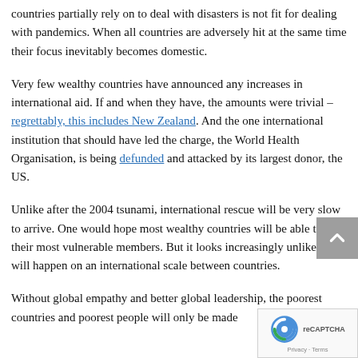countries partially rely on to deal with disasters is not fit for dealing with pandemics. When all countries are adversely hit at the same time their focus inevitably becomes domestic.
Very few wealthy countries have announced any increases in international aid. If and when they have, the amounts were trivial – regrettably, this includes New Zealand. And the one international institution that should have led the charge, the World Health Organisation, is being defunded and attacked by its largest donor, the US.
Unlike after the 2004 tsunami, international rescue will be very slow to arrive. One would hope most wealthy countries will be able to help their most vulnerable members. But it looks increasingly unlikely this will happen on an international scale between countries.
Without global empathy and better global leadership, the poorest countries and poorest people will only be made